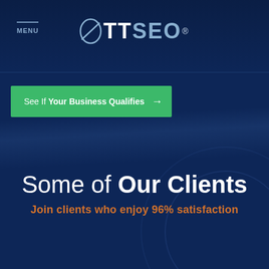MENU   ØTTSEO®
See If Your Business Qualifies →
Some of Our Clients
Join clients who enjoy 96% satisfaction